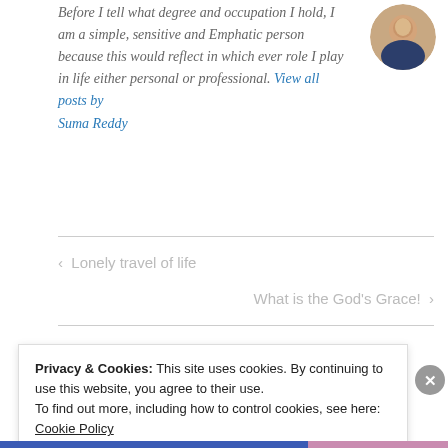Before I tell what degree and occupation I hold, I am a simple, sensitive and Emphatic person because this would reflect in which ever role I play in life either personal or professional. View all posts by Suma Reddy
[Figure (photo): Circular avatar photo of Suma Reddy]
< Lonely travel of life
What is the God's Grace! >
Privacy & Cookies: This site uses cookies. By continuing to use this website, you agree to their use.
To find out more, including how to control cookies, see here: Cookie Policy
Close and accept